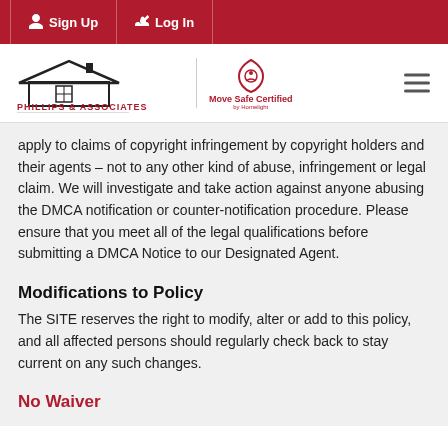Sign Up   Log In
[Figure (logo): Phillips & Associates Realty logo with house icon, vertical divider, Move Safe Certified by Homelight logo, and hamburger menu icon]
apply to claims of copyright infringement by copyright holders and their agents – not to any other kind of abuse, infringement or legal claim. We will investigate and take action against anyone abusing the DMCA notification or counter-notification procedure. Please ensure that you meet all of the legal qualifications before submitting a DMCA Notice to our Designated Agent.
Modifications to Policy
The SITE reserves the right to modify, alter or add to this policy, and all affected persons should regularly check back to stay current on any such changes.
No Waiver